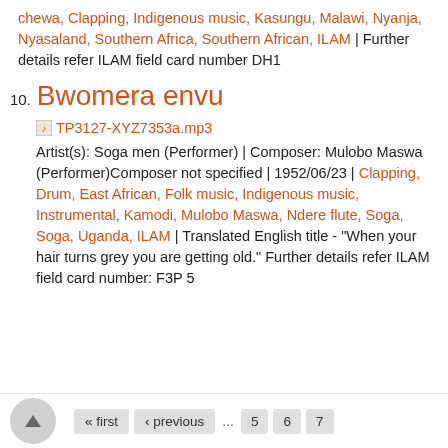chewa, Clapping, Indigenous music, Kasungu, Malawi, Nyanja, Nyasaland, Southern Africa, Southern African, ILAM | Further details refer ILAM field card number DH1
10. Bwomera envu
TP3127-XYZ7353a.mp3 Artist(s): Soga men (Performer) | Composer: Mulobo Maswa (Performer)Composer not specified | 1952/06/23 | Clapping, Drum, East African, Folk music, Indigenous music, Instrumental, Kamodi, Mulobo Maswa, Ndere flute, Soga, Soga, Uganda, ILAM | Translated English title - "When your hair turns grey you are getting old." Further details refer ILAM field card number: F3P 5
« first ‹ previous … 5 6 7